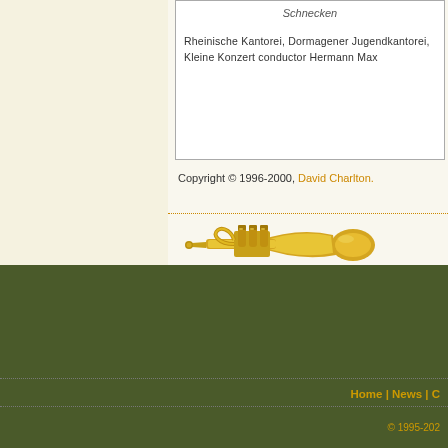Schnecken
Rheinische Kantorei, Dormagener Jugendkantorei, Kleine Konzert conductor Hermann Max
Copyright © 1996-2000, David Charlton.
[Figure (illustration): Golden trumpet illustration]
Home | News | © 1995-20...